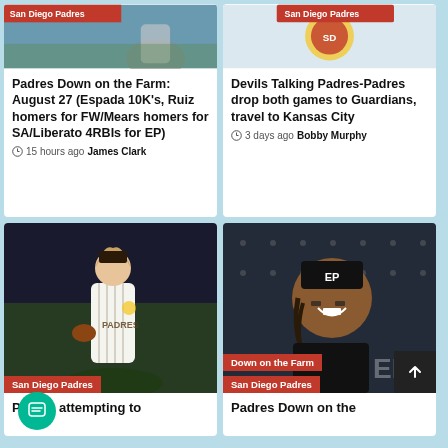[Figure (photo): San Diego Padres banner and baseball players photo - top left card image]
Padres Down on the Farm: August 27 (Espada 10K's, Ruiz homers for FW/Mears homers for SA/Liberato 4RBIs for EP)
15 hours ago  James Clark
[Figure (logo): San Diego Padres logo - top right card image]
Devils Talking Padres-Padres drop both games to Guardians, travel to Kansas City
3 days ago  Bobby Murphy
[Figure (photo): San Diego Padres pitcher in pinstripe uniform on field at night - bottom left card]
Padres attempting to
[Figure (photo): Smiling baseball player in black EP cap with Down on the Farm and San Diego Padres badges - bottom right card]
Padres Down on the